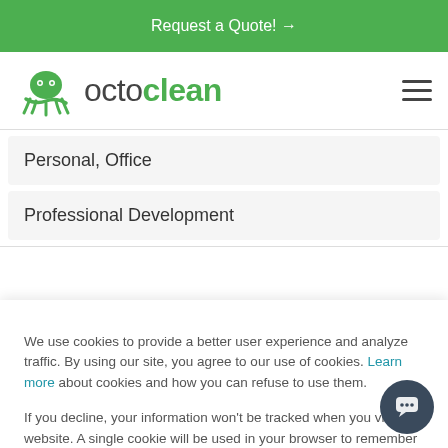Request a Quote! →
[Figure (logo): Octoclean logo with green octopus icon and text 'octoclean']
Personal, Office
Professional Development
We use cookies to provide a better user experience and analyze traffic. By using our site, you agree to our use of cookies. Learn more about cookies and how you can refuse to use them.

If you decline, your information won't be tracked when you visit this website. A single cookie will be used in your browser to remember your preference not to be tracked.
Accept | Decline